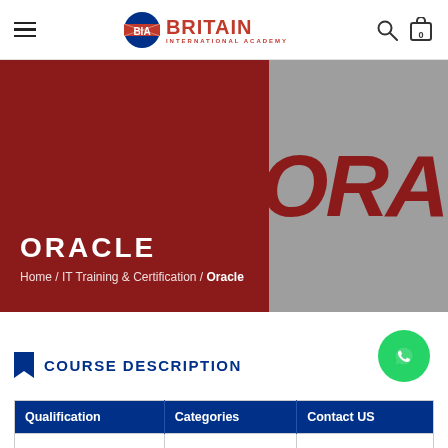Britain International Academy — navigation bar
[Figure (screenshot): Hero banner with dark red left panel showing ORACLE title and breadcrumb, and grey right panel showing large ORA text. Oracle course page header.]
ORACLE
Home / IT Training & Certification / Oracle
[Figure (illustration): WhatsApp floating action button (green circle with WhatsApp logo)]
COURSE DESCRIPTION
| Qualification | Categories | Contact US |
| --- | --- | --- |